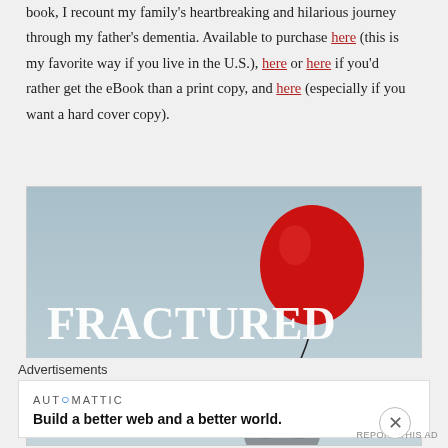book, I recount my family's heartbreaking and hilarious journey through my father's dementia. Available to purchase here (this is my favorite way if you live in the U.S.), here or here if you'd rather get the eBook than a print copy, and here (especially if you want a hard cover copy).
[Figure (illustration): Book cover for 'Fractured Memories' showing a dog holding a red balloon string against a blue-gray sky background, with text 'FRACTURED MEMORIES' in large white serif letters and 'Because demented' in smaller italic text below.]
Advertisements
AUTOMATTIC
Build a better web and a better world.